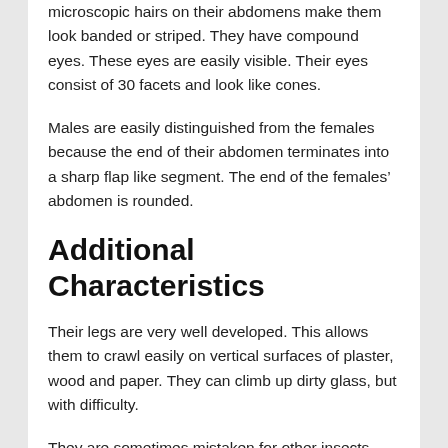microscopic hairs on their abdomens make them look banded or striped. They have compound eyes. These eyes are easily visible. Their eyes consist of 30 facets and look like cones.
Males are easily distinguished from the females because the end of their abdomen terminates into a sharp flap like segment. The end of the females’ abdomen is rounded.
Additional Characteristics
Their legs are very well developed. This allows them to crawl easily on vertical surfaces of plaster, wood and paper. They can climb up dirty glass, but with difficulty.
They are sometimes mistaken for other insects including carpet beetles and booklice, or vice-versa. Unfortunately, the current registered pesticide poisons do not affect this species.